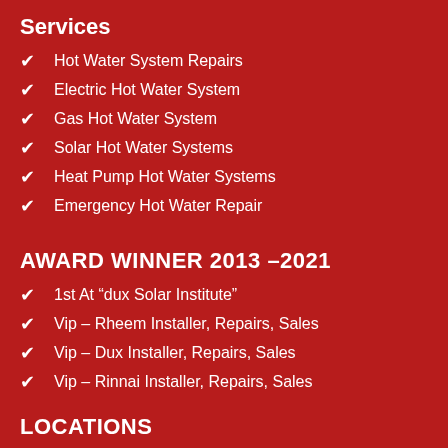Services
Hot Water System Repairs
Electric Hot Water System
Gas Hot Water System
Solar Hot Water Systems
Heat Pump Hot Water Systems
Emergency Hot Water Repair
AWARD WINNER 2013 –2021
1st At “dux Solar Institute”
Vip – Rheem Installer, Repairs, Sales
Vip – Dux Installer, Repairs, Sales
Vip – Rinnai Installer, Repairs, Sales
LOCATIONS